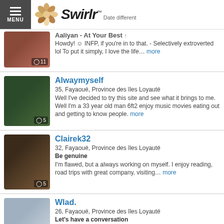Swirlr – Date different
Aaliyan - At Your Best
Howdy! INFP, if you're in to that. - Selectively extroverted lol To put it simply, I love the life... more
Alwaymyself
35, Fayaoué, Province des îles Loyauté
Well I've decided to try this site and see what it brings to me. Well I'm a 33 year old man 6ft2 enjoy music movies eating out and getting to know people. more
Clairek32
32, Fayaoué, Province des îles Loyauté
Be genuine
I'm flawed, but a always working on myself. I enjoy reading, road trips with great company, visiting... more
Wlad.
26, Fayaoué, Province des îles Loyauté
Let's have a conversation
No matter what happens, at the end of the day I'll